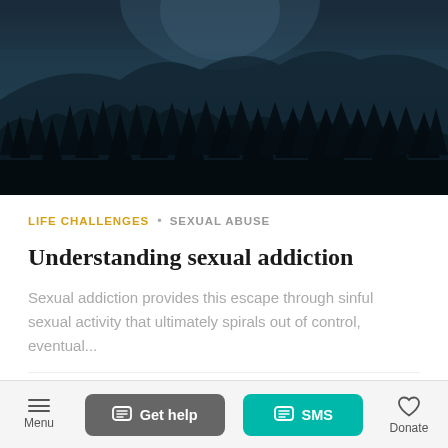[Figure (photo): Dark moody landscape photo showing silhouettes of pine trees on a hillside against a deep teal-blue misty sky]
LIFE CHALLENGES  •  SEXUAL ABUSE
Understanding sexual addiction
Sexual addiction provides this escape through sinful sexual activity that ultimately spirals out of control, eventual...
ARTICLE
Menu  |  Get help  |  SMS  |  Donate